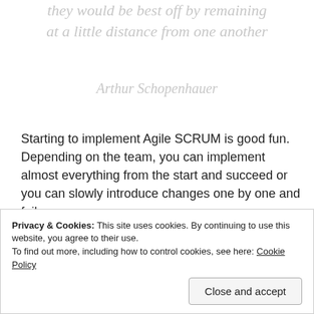they would be best off by remaining at a little distance from one another
Arthur Schopenhauer
Starting to implement Agile SCRUM is good fun. Depending on the team, you can implement almost everything from the start and succeed or you can slowly introduce changes one by one and fail. The way the team absorbs and applied new habits and constraints is really important and you can play as Scrum Master a key contribution building up the confidence and
Privacy & Cookies: This site uses cookies. By continuing to use this website, you agree to their use. To find out more, including how to control cookies, see here: Cookie Policy
Close and accept
with a brand new team.